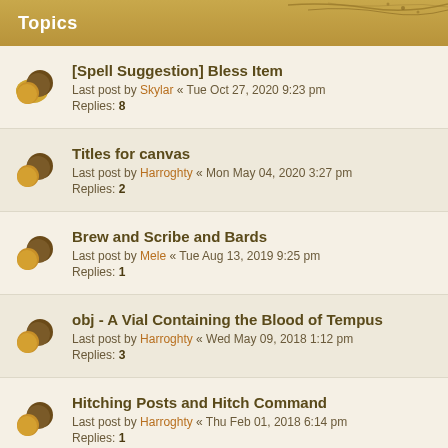Topics
[Spell Suggestion] Bless Item
Last post by Skylar « Tue Oct 27, 2020 9:23 pm
Replies: 8
Titles for canvas
Last post by Harroghty « Mon May 04, 2020 3:27 pm
Replies: 2
Brew and Scribe and Bards
Last post by Mele « Tue Aug 13, 2019 9:25 pm
Replies: 1
obj - A Vial Containing the Blood of Tempus
Last post by Harroghty « Wed May 09, 2018 1:12 pm
Replies: 3
Hitching Posts and Hitch Command
Last post by Harroghty « Thu Feb 01, 2018 6:14 pm
Replies: 1
Uncoded non-priests
Last post by Harroghty « Fri Nov 03, 2017 4:08 pm
Replies: 8
Oghma's favor
Last post by Yemin « Tue Oct 10, 2017 12:23 pm